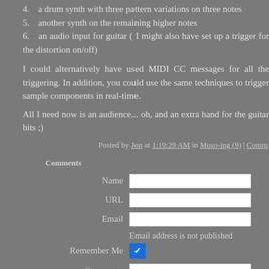4.  a drum synth with three pattern variations on three notes
5.  another synth on the remaining higher notes
6.  an audio input for guitar ( I might also have set up a trigger for the distortion on/off)
I could alternatively have used MIDI CC messages for all the triggering.  In addition, you could use the same techniques to trigger sample components in real-time.
All I need now is an audience... oh, and an extra hand for the guitar bits ;)
Posted by Jon at 1:19:29 AM in Muso-ing (9) | Comm
Comments
Name [input field]
URL [input field]
Email [input field]
Email address is not published
Remember Me [checkbox checked]
Comments [textarea]